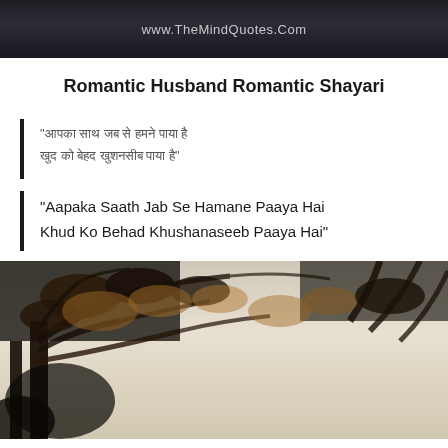www.TheMindQuotes.Com
Romantic Husband Romantic Shayari
“आपका साथ जब से हमने पाया है खुद को बेहद खुशनसीब पाया है”
“Aapaka Saath Jab Se Hamane Paaya Hai Khud Ko Behad Khushanaseeb Paaya Hai”
[Figure (photo): Photograph of tree branches with autumn foliage against a light sky, warm sepia/muted tones]